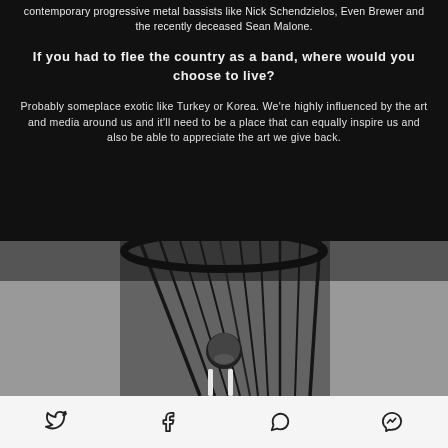contemporary progressive metal bassists like Nick Schendzielos, Even Brewer and the recently deceased Sean Malone.
If you had to flee the country as a band, where would you choose to live?
Probably someplace exotic like Turkey or Korea. We’re highly influenced by the art and media around us and it’ll need to be a place that can equally inspire us and also be able to appreciate the art we give back.
[Figure (photo): Black and white photo of a musician under a large dark cage-like structure, with two white drum sticks visible, performer visible underneath]
Social share icons: Twitter, Facebook, WhatsApp, Messenger